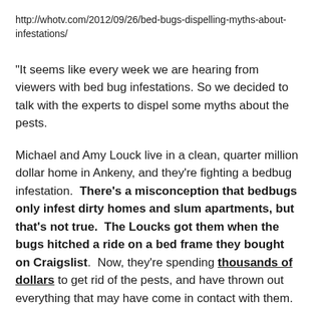http://whotv.com/2012/09/26/bed-bugs-dispelling-myths-about-infestations/
"It seems like every week we are hearing from viewers with bed bug infestations. So we decided to talk with the experts to dispel some myths about the pests.
Michael and Amy Louck live in a clean, quarter million dollar home in Ankeny, and they're fighting a bedbug infestation.  There's a misconception that bedbugs only infest dirty homes and slum apartments, but that's not true.  The Loucks got them when the bugs hitched a ride on a bed frame they bought on Craigslist.  Now, they're spending thousands of dollars to get rid of the pests, and have thrown out everything that may have come in contact with them.
"We've thrown out probably $10,000 dollars in stuff b